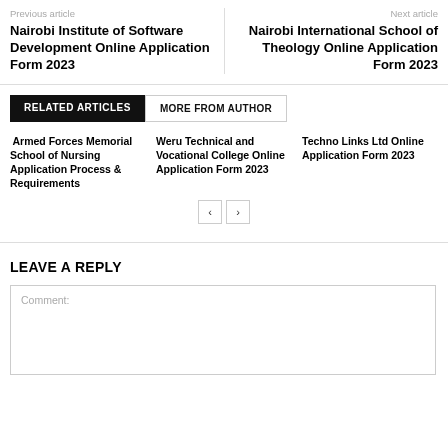Previous article
Nairobi Institute of Software Development Online Application Form 2023
Next article
Nairobi International School of Theology Online Application Form 2023
RELATED ARTICLES
MORE FROM AUTHOR
Armed Forces Memorial School of Nursing Application Process & Requirements
Weru Technical and Vocational College Online Application Form 2023
Techno Links Ltd Online Application Form 2023
LEAVE A REPLY
Comment: